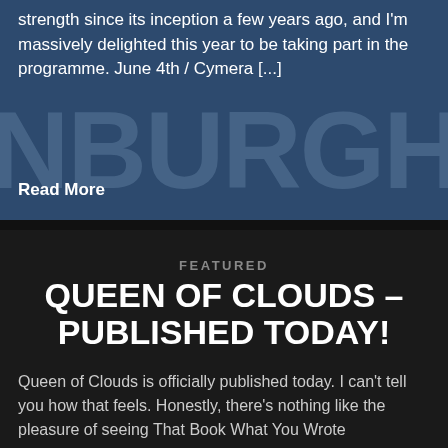strength since its inception a few years ago, and I'm massively delighted this year to be taking part in the programme. June 4th / Cymera [...]
Read More
FEATURED
QUEEN OF CLOUDS – PUBLISHED TODAY!
Queen of Clouds is officially published today. I can't tell you how that feels. Honestly, there's nothing like the pleasure of seeing That Book What You Wrote